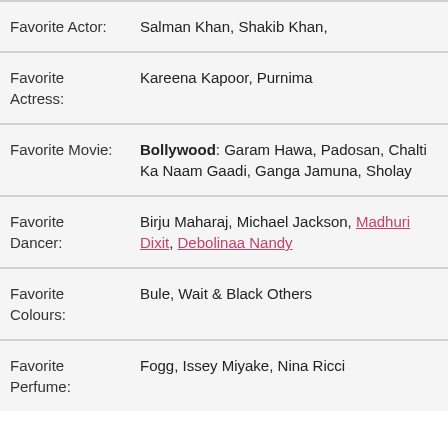| Favorite Actor: | Salman Khan, Shakib Khan, |
| Favorite Actress: | Kareena Kapoor, Purnima |
| Favorite Movie: | Bollywood: Garam Hawa, Padosan, Chalti Ka Naam Gaadi, Ganga Jamuna, Sholay |
| Favorite Dancer: | Birju Maharaj, Michael Jackson, Madhuri Dixit, Debolinaa Nandy |
| Favorite Colours: | Bule, Wait & Black Others |
| Favorite Perfume: | Fogg, Issey Miyake, Nina Ricci |